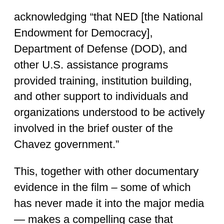acknowledging “that NED [the National Endowment for Democracy], Department of Defense (DOD), and other U.S. assistance programs provided training, institution building, and other support to individuals and organizations understood to be actively involved in the brief ouster of the Chavez government.”
This, together with other documentary evidence in the film – some of which has never made it into the major media — makes a compelling case that Washington was involved in the coup. This conclusion is also backed up by the Washington Post’s Scott Wilson, who was foreign editor at the time that we interviewed him, and who reported from Caracas during the coup.
Eduardo Porter, of the New York Times’ editorial board, also appears in the film and refers to the Bush